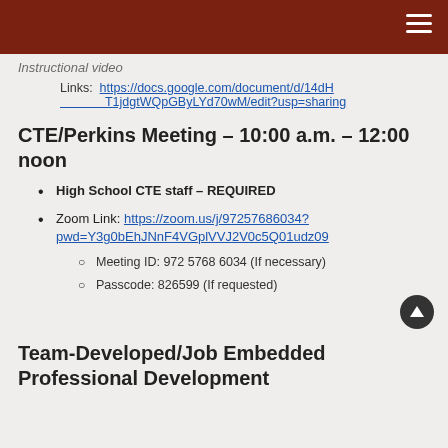Instructional video
Links:  https://docs.google.com/document/d/14dHoT1jdgtWQpGByLYd70wM/edit?usp=sharing
CTE/Perkins Meeting – 10:00 a.m. – 12:00 noon
High School CTE staff – REQUIRED
Zoom Link: https://zoom.us/j/97257686034?pwd=Y3g0bEhJNnF4VGplVVJ2V0c5Q01udz09
Meeting ID: 972 5768 6034 (If necessary)
Passcode: 826599 (If requested)
Team-Developed/Job Embedded Professional Development